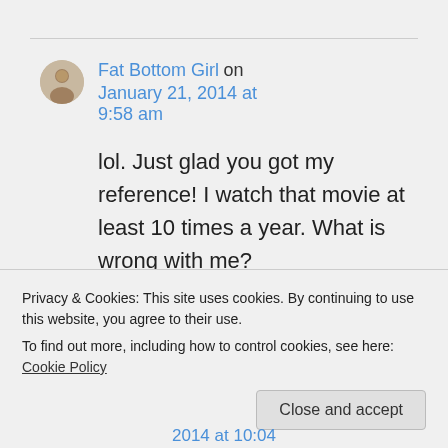Fat Bottom Girl on January 21, 2014 at 9:58 am
lol. Just glad you got my reference! I watch that movie at least 10 times a year. What is wrong with me?
Privacy & Cookies: This site uses cookies. By continuing to use this website, you agree to their use. To find out more, including how to control cookies, see here: Cookie Policy
Close and accept
2014 at 10:04